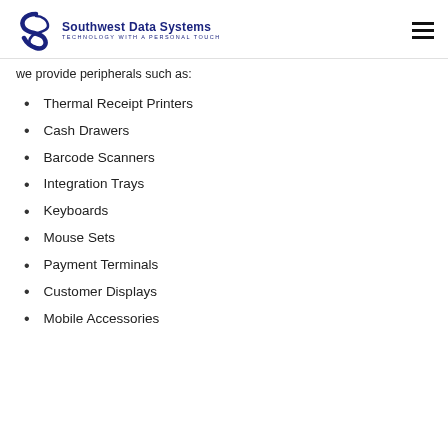Southwest Data Systems — TECHNOLOGY WITH A PERSONAL TOUCH
we provide peripherals such as:
Thermal Receipt Printers
Cash Drawers
Barcode Scanners
Integration Trays
Keyboards
Mouse Sets
Payment Terminals
Customer Displays
Mobile Accessories